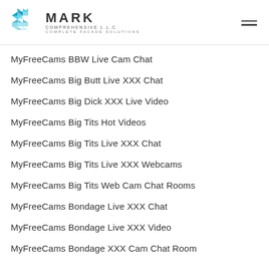MARK COMPREHENSIVE L.L.C — COMPLETE FACADE SOLUTIONS
MyFreeCams BBW Live Cam Chat
MyFreeCams Big Butt Live XXX Chat
MyFreeCams Big Dick XXX Live Video
MyFreeCams Big Tits Hot Videos
MyFreeCams Big Tits Live XXX Chat
MyFreeCams Big Tits Live XXX Webcams
MyFreeCams Big Tits Web Cam Chat Rooms
MyFreeCams Bondage Live XXX Chat
MyFreeCams Bondage Live XXX Video
MyFreeCams Bondage XXX Cam Chat Room